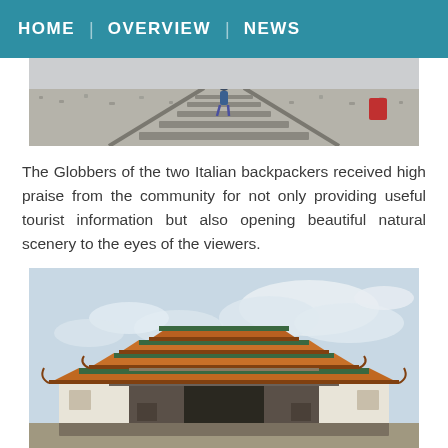HOME   OVERVIEW   NEWS
[Figure (photo): A person walking along railroad tracks, viewed from above/behind, with gravel and ties visible]
The Globbers of the two Italian backpackers received high praise from the community for not only providing useful tourist information but also opening beautiful natural scenery to the eyes of the viewers.
[Figure (photo): A traditional East Asian (Chinese/Vietnamese) temple building with ornate orange tiled roofs against a cloudy sky]